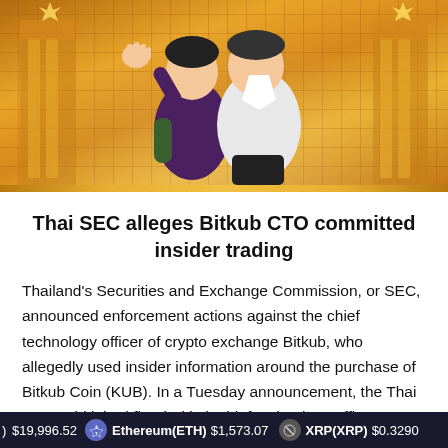[Figure (illustration): Comic/manga-style illustration showing two characters - one in a dark outfit raising a hand, another in a white outfit - set against an orange geometric background suggesting a Thai architectural setting]
Thai SEC alleges Bitkub CTO committed insider trading
Thailand's Securities and Exchange Commission, or SEC, announced enforcement actions against the chief technology officer of crypto exchange Bitkub, who allegedly used insider information around the purchase of Bitkub Coin (KUB). In a Tuesday announcement, the Thai SEC said it had fined Bitkub chief technology officer Samret
$19,996.52   Ethereum(ETH) $1,573.07   XRP(XRP) $0.3290